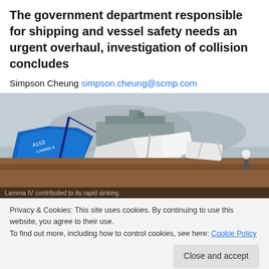The government department responsible for shipping and vessel safety needs an urgent overhaul, investigation of collision concludes
Simpson Cheung simpson.cheung@scmp.com
[Figure (photo): Wreckage of a vessel collision showing a toppled blue boat marked 'A153 Lamma 4' and destroyed white boat parts on a barge, with a large cargo ship visible in the misty background and a person standing on the right.]
Lamma IV contributed to its rapid sinking.
Privacy & Cookies: This site uses cookies. By continuing to use this website, you agree to their use.
To find out more, including how to control cookies, see here: Cookie Policy